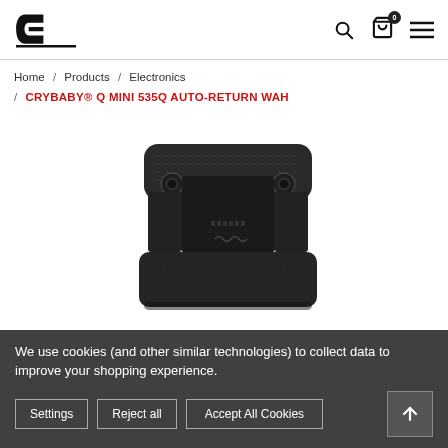Dunlop logo, search icon, cart (0), hamburger menu
Home / Products / Electronics / CRYBABY® Q MINI 535Q AUTO-RETURN WAH
[Figure (photo): Close-up bottom view of a black Crybaby Q Mini 535Q Auto-Return Wah guitar pedal showing the underside with two rubber feet and internal mechanism visible]
We use cookies (and other similar technologies) to collect data to improve your shopping experience.
Settings   Reject all   Accept All Cookies